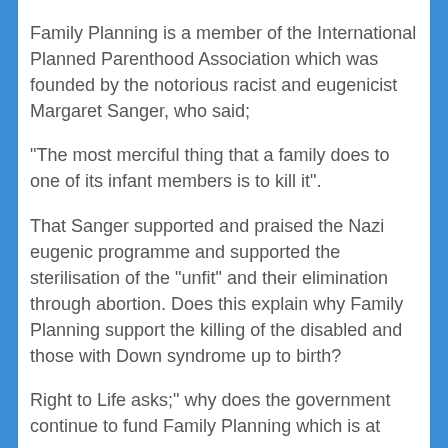Family Planning is a member of the International Planned Parenthood Association which was founded by the notorious racist and eugenicist Margaret Sanger, who said;
"The most merciful thing that a family does to one of its infant members is to kill it".
That Sanger supported and praised the Nazi eugenic programme and supported the sterilisation of the "unfit" and their elimination through abortion. Does this explain why Family Planning support the killing of the disabled and those with Down syndrome up to birth?
Right to Life asks;" why does the government continue to fund Family Planning which is at